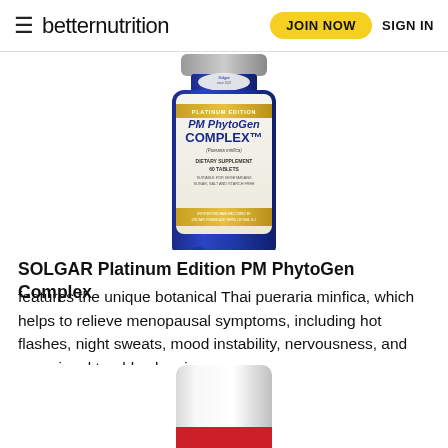≡ betternutrition   JOIN NOW   SIGN IN
[Figure (photo): Solgar Platinum Edition PM PhytoGen Complex supplement bottle, blue glass bottle with label showing product name, dietary supplement details, 60 tablets]
SOLGAR Platinum Edition PM PhytoGen Complex
features the unique botanical Thai pueraria minfica, which helps to relieve menopausal symptoms, including hot flashes, night sweats, mood instability, nervousness, and occasional trouble sleeping.
[Figure (photo): White supplement bottle, partially visible at bottom of page, with red label band]